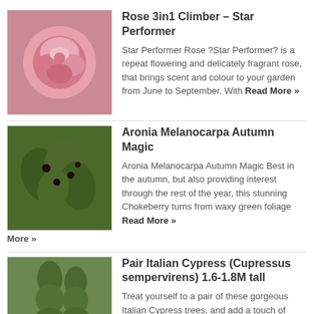Rose 3in1 Climber – Star Performer
Star Performer Rose ?Star Performer? is a repeat flowering and delicately fragrant rose, that brings scent and colour to your garden from June to September. With Read More »
Aronia Melanocarpa Autumn Magic
Aronia Melanocarpa Autumn Magic Best in the autumn, but also providing interest through the rest of the year, this stunning Chokeberry turns from waxy green foliage Read More »
Pair Italian Cypress (Cupressus sempervirens) 1.6-1.8M tall
Treat yourself to a pair of these gorgeous Italian Cypress trees, and add a touch of Mediterranean class to your garden. Seen all over Italy, these Read More »
3x3m PE Gazebo
Features Size: 290*290cm Centre Height: 250cm Steel Tube